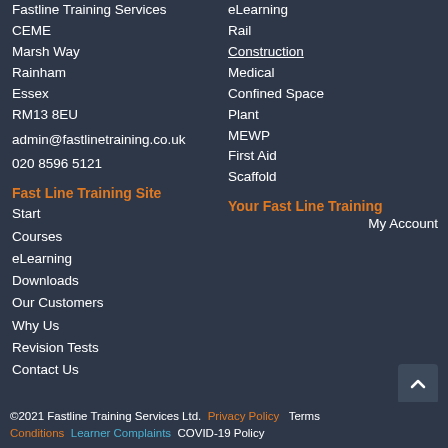Fastline Training Services
CEME
Marsh Way
Rainham
Essex
RM13 8EU
admin@fastlinetraining.co.uk
020 8596 5121
Fast Line Training Site
Start
Courses
eLearning
Downloads
Our Customers
Why Us
Revision Tests
Contact Us
eLearning
Rail
Construction
Medical
Confined Space
Plant
MEWP
First Aid
Scaffold
Your Fast Line Training
My Account
©2021 Fastline Training Services Ltd.  Privacy Policy  Terms  Conditions  Learner Complaints  COVID-19 Policy